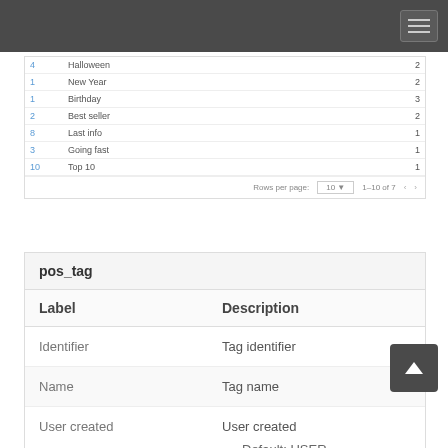| 4 | Halloween |  | 2 |
| 1 | New Year |  | 2 |
| 1 | Birthday |  | 3 |
| 2 | Best seller |  | 2 |
| 8 | Last info |  | 1 |
| 3 | Going fast |  | 1 |
| 10 | Top 10 |  | 1 |
| Label | Description |
| --- | --- |
| Identifier | Tag identifier |
| Name | Tag name |
| User created | User created
Default: USER |
| Date created |  |